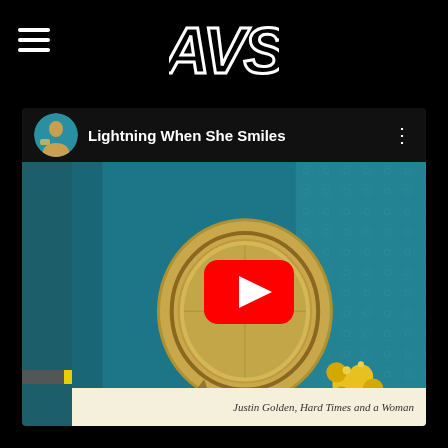[Figure (logo): AVS stylized logo in white outline on black background]
[Figure (screenshot): YouTube video player screenshot showing 'Lightning When She Smiles' video with album art from Justin Golden, Hard Times and a Woman. Features YouTube play button overlay, channel icon, video title, and three-dot menu button.]